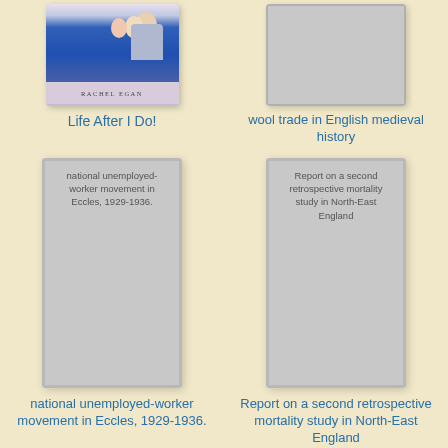[Figure (photo): Book cover of 'Life After I Do!' by Rachel Egan, showing a photo of people with a blue object, and author name bar]
Life After I Do!
[Figure (illustration): Placeholder book cover for wool trade in English medieval history]
wool trade in English medieval history
[Figure (illustration): Book cover placeholder with text: national unemployed-worker movement in Eccles, 1929-1936.]
national unemployed-worker movement in Eccles, 1929-1936.
[Figure (illustration): Book cover placeholder with text: Report on a second retrospective mortality study in North-East England]
Report on a second retrospective mortality study in North-East England
[Figure (illustration): Partial book cover placeholder bottom left]
[Figure (illustration): Partial book cover placeholder bottom right]